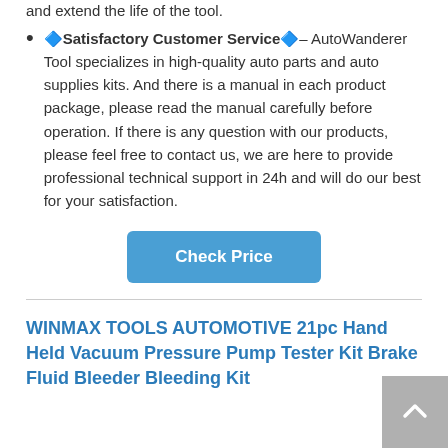and extend the life of the tool.
🔹Satisfactory Customer Service🔹– AutoWanderer Tool specializes in high-quality auto parts and auto supplies kits. And there is a manual in each product package, please read the manual carefully before operation. If there is any question with our products, please feel free to contact us, we are here to provide professional technical support in 24h and will do our best for your satisfaction.
[Figure (other): Check Price button — blue rounded rectangle with white bold text]
WINMAX TOOLS AUTOMOTIVE 21pc Hand Held Vacuum Pressure Pump Tester Kit Brake Fluid Bleeder Bleeding Kit